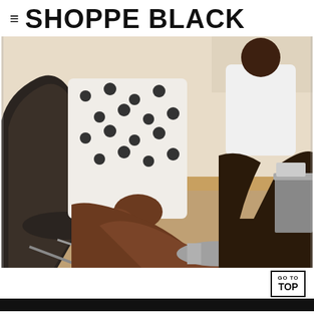≡ SHOPPE BLACK
[Figure (photo): Two people seated in modern leather chairs in an interior space. The foreground shows a person in a white polka-dot dress with crossed legs wearing metallic/silver sandals. The background shows another person in a white t-shirt and dark pants seated cross-legged. The floor has a textured woven rug over wood flooring.]
GO TO TOP